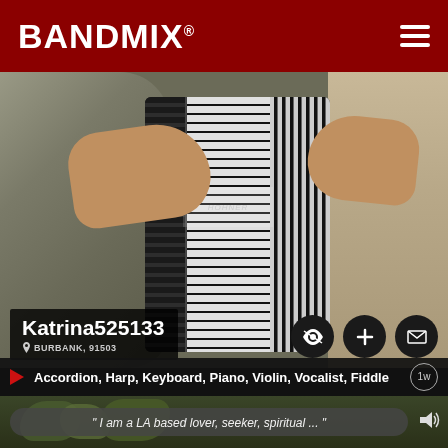BANDMIX®
[Figure (photo): Photo of person playing a Hohner accordion, hands visible holding the instrument, rocky background, outdoor setting]
Katrina525133
BURBANK, 91503
Accordion, Harp, Keyboard, Piano, Violin, Vocalist, Fiddle
[Figure (screenshot): Video thumbnail showing plants/greenery with quote overlay: " I am a LA based lover, seeker, spiritual ... "]